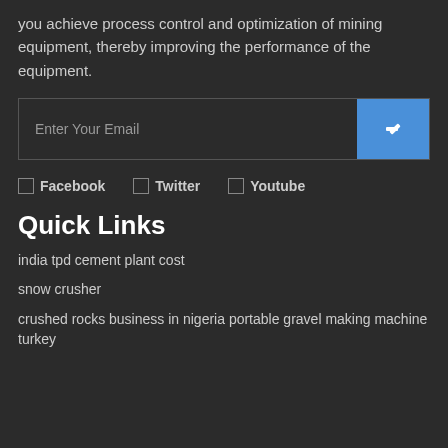you achieve process control and optimization of mining equipment, thereby improving the performance of the equipment.
[Figure (other): Email subscription input box with 'Enter Your Email' placeholder and a blue submit button with an arrow icon]
☐ Facebook   ☐ Twitter   ☐ Youtube
Quick Links
india tpd cement plant cost
snow crusher
crushed rocks business in nigeria portable gravel making machine turkey